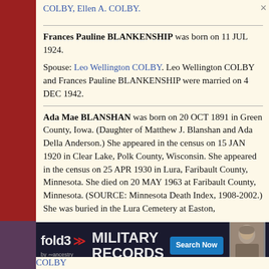COLBY, Ellen A. COLBY.
Frances Pauline BLANKENSHIP was born on 11 JUL 1924. Spouse: Leo Wellington COLBY. Leo Wellington COLBY and Frances Pauline BLANKENSHIP were married on 4 DEC 1942.
Ada Mae BLANSHAN was born on 20 OCT 1891 in Green County, Iowa. (Daughter of Matthew J. Blanshan and Ada Della Anderson.) She appeared in the census on 15 JAN 1920 in Clear Lake, Polk County, Wisconsin. She appeared in the census on 25 APR 1930 in Lura, Faribault County, Minnesota. She died on 20 MAY 1963 at Faribault County, Minnesota. (SOURCE: Minnesota Death Index, 1908-2002.) She was buried in the Lura Cemetery at Easton,
[Figure (infographic): fold3 by Ancestry advertisement banner for Military Records with Search Now button and soldier photo]